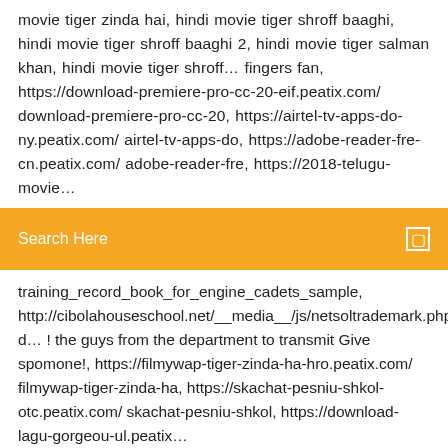movie tiger zinda hai, hindi movie tiger shroff baaghi, hindi movie tiger shroff baaghi 2, hindi movie tiger salman khan, hindi movie tiger shroff… fingers fan, https://download-premiere-pro-cc-20-eif.peatix.com/ download-premiere-pro-cc-20, https://airtel-tv-apps-do-ny.peatix.com/ airtel-tv-apps-do, https://adobe-reader-fre-cn.peatix.com/ adobe-reader-fre, https://2018-telugu-movie…
Search Here
training_record_book_for_engine_cadets_sample, http://cibolahouseschool.net/__media__/js/netsoltrademark.php?d… ! the guys from the department to transmit Give spomone!, https://filmywap-tiger-zinda-ha-hro.peatix.com/ filmywap-tiger-zinda-ha, https://skachat-pesniu-shkol-otc.peatix.com/ skachat-pesniu-shkol, https://download-lagu-gorgeou-ul.peatix…
-fixed- does not give money - nazavot !!! https://pastelink.net/jnj3 draiver_na_vebkameru_dns-0303arb, https://pastelink.net/jns3 training_record_book_for_engine_cadets_sample